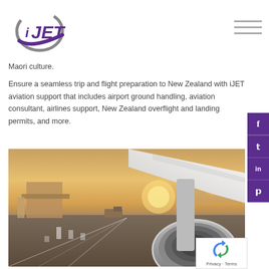[Figure (logo): iJET aviation logo with purple swoosh and stylized lettering]
Maori culture.
Ensure a seamless trip and flight preparation to New Zealand with iJET aviation support that includes airport ground handling, aviation consultant, airlines support, New Zealand overflight and landing permits, and more.
[Figure (photo): Airport tarmac with airplane wing and jet engine in foreground, warm golden sunset light, jet bridge and ground vehicles visible in background]